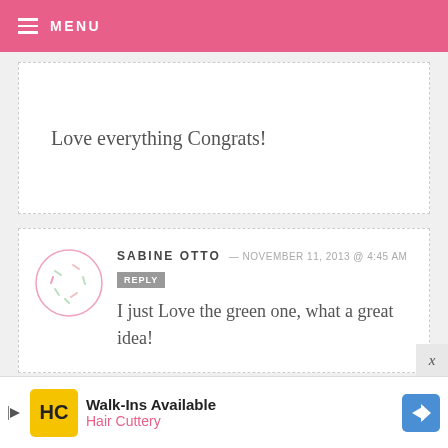MENU
Love everything Congrats!
SABINE OTTO — NOVEMBER 11, 2013 @ 4:45 AM
I just Love the green one, what a great idea!
JOYCE — NOVEMBER 11, 2013 @ 4:44 AM
Both looks amazing but I would love to
Walk-Ins Available
Hair Cuttery